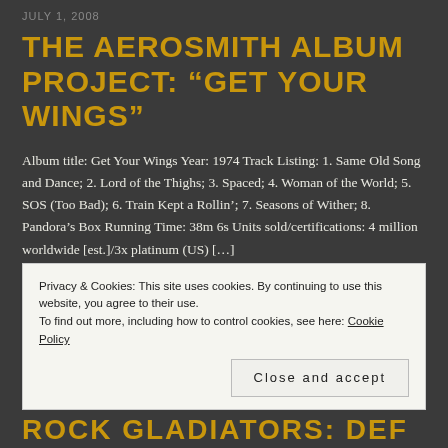JULY 1, 2008
THE AEROSMITH ALBUM PROJECT: “GET YOUR WINGS”
Album title: Get Your Wings Year: 1974 Track Listing: 1. Same Old Song and Dance; 2. Lord of the Thighs; 3. Spaced; 4. Woman of the World; 5. SOS (Too Bad); 6. Train Kept a Rollin’; 7. Seasons of Wither; 8. Pandora’s Box Running Time: 38m 6s Units sold/certifications: 4 million worldwide [est.]/3x platinum (US) [...]
Privacy & Cookies: This site uses cookies. By continuing to use this website, you agree to their use.
To find out more, including how to control cookies, see here: Cookie Policy
Close and accept
ROCK GLADIATORS: DEF